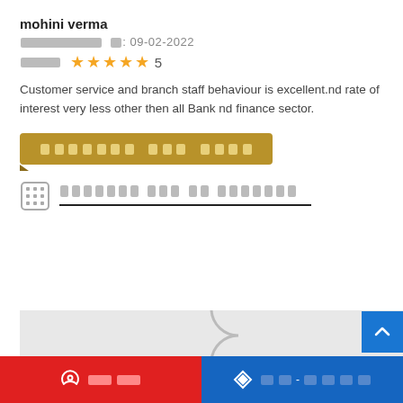mohini verma
[date label in Hindi]: 09-02-2022
[rating label in Hindi] ★★★★★ 5
Customer service and branch staff behaviour is excellent.nd rate of interest very less other then all Bank nd finance sector.
[Hindi button text - redacted]
[Hindi nearby text - redacted]
[Figure (map): Loading map area with spinner, partially visible]
[call button] [Hindi directions text]